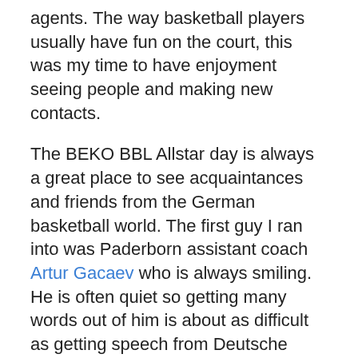agents. The way basketball players usually have fun on the court, this was my time to have enjoyment seeing people and making new contacts.
The BEKO BBL Allstar day is always a great place to see acquaintances and friends from the German basketball world. The first guy I ran into was Paderborn assistant coach Artur Gacaev who is always smiling. He is often quiet so getting many words out of him is about as difficult as getting speech from Deutsche Bank Skyliner big man Greg Jenkins. He spoke a little about the current woes of the Paderborn Baskets, but had little answers as too how the club would climb out of the BBL cellar. He had a big glow in his eyes about the NBBL game where he was on the bench assisting Henrik Rödl.
After a while, I spotted an always very popular interview